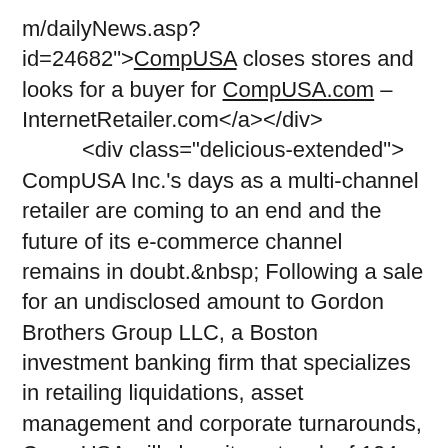m/dailyNews.asp?id=24682">CompUSA closes stores and looks for a buyer for CompUSA.com – InternetRetailer.com</a></div>
        <div class="delicious-extended">
CompUSA Inc.'s days as a multi-channel retailer are coming to an end and the future of its e-commerce channel remains in doubt.&nbsp; Following a sale for an undisclosed amount to Gordon Brothers Group LLC, a Boston investment banking firm that specializes in retailing liquidations, asset management and corporate turnarounds, CompUSA will close its network of 104 stores, but possibly